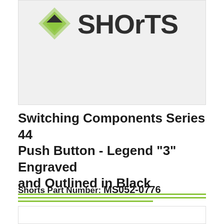[Figure (logo): Shorts company logo with green diamond/chevron icon and bold 'SHORTS' wordmark in dark grey/black]
Switching Components Series 44 Push Button - Legend "3" Engraved and Outlined in Black
Shorts Part Number: MS052-0776